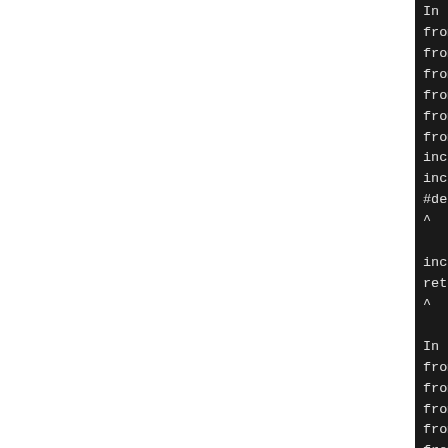[Figure (screenshot): Terminal/console output showing compiler error messages related to Linux kernel headers, bitops.h include chain errors and hweight32 macro issues. Black background with monospace white text, partially cropped on the right side.]